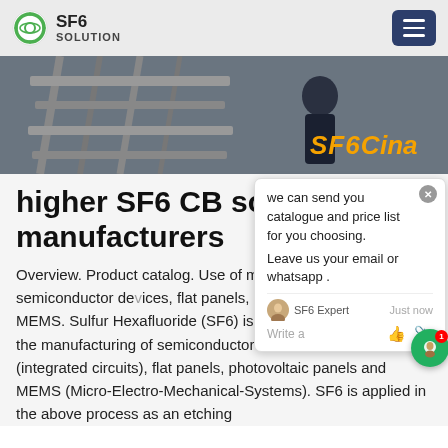SF6 SOLUTION
[Figure (photo): Hero banner photo showing industrial/electrical equipment. Orange text overlay reads 'SF6China']
higher SF6 CB solution manufacturers
Overview. Product catalog. Use of manufacturing of semiconductor devices, flat panels, photovoltaic panels and MEMS. Sulfur Hexafluoride (SF6) is more and more used for the manufacturing of semiconductor devices such as IC (integrated circuits), flat panels, photovoltaic panels and MEMS (Micro-Electro-Mechanical-Systems). SF6 is applied in the above process as an etching gas.